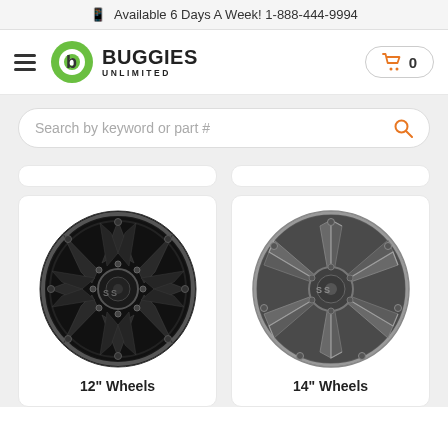📱 Available 6 Days A Week! 1-888-444-9994
[Figure (logo): Buggies Unlimited logo with green circular B icon and bold text]
0
Search by keyword or part #
[Figure (photo): Black 12 inch golf cart wheel with cross-spoke pattern]
12" Wheels
[Figure (photo): Grey/gunmetal 14 inch golf cart wheel with Y-spoke pattern]
14" Wheels